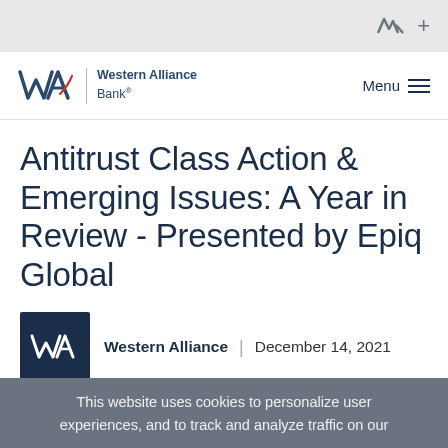WA +
[Figure (logo): Western Alliance Bank logo with WA mark and text, plus Menu hamburger icon]
Antitrust Class Action & Emerging Issues: A Year in Review - Presented by Epiq Global
Western Alliance | December 14, 2021
This website uses cookies to personalize user experiences, and to track and analyze traffic on our